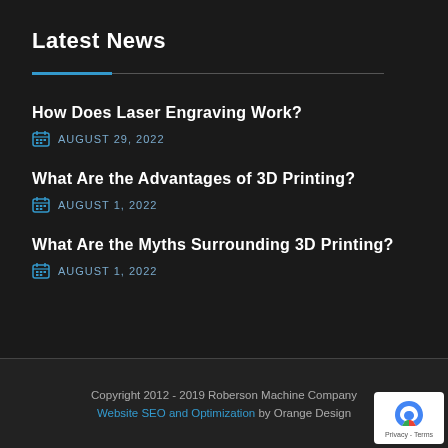Latest News
How Does Laser Engraving Work?
AUGUST 29, 2022
What Are the Advantages of 3D Printing?
AUGUST 1, 2022
What Are the Myths Surrounding 3D Printing?
AUGUST 1, 2022
Copyright 2012 - 2019 Roberson Machine Company
Website SEO and Optimization by Orange Design